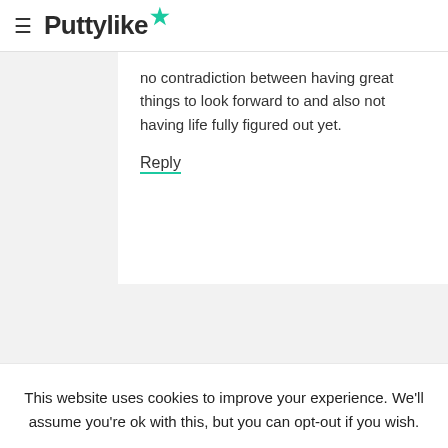Puttylike
no contradiction between having great things to look forward to and also not having life fully figured out yet.
Reply
This website uses cookies to improve your experience. We'll assume you're ok with this, but you can opt-out if you wish.
Cookie settings
ACCEPT